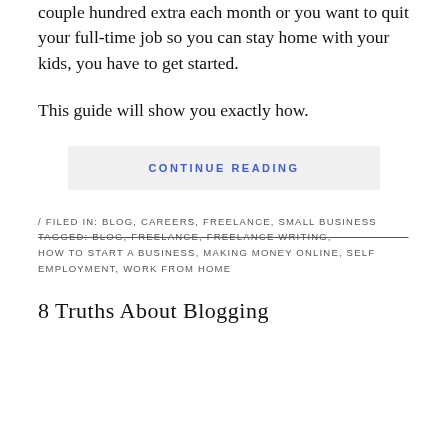couple hundred extra each month or you want to quit your full-time job so you can stay home with your kids, you have to get started.
This guide will show you exactly how.
CONTINUE READING
/ FILED IN: BLOG, CAREERS, FREELANCE, SMALL BUSINESS
TAGGED: BLOG, FREELANCE, FREELANCE WRITING, HOW TO START A BUSINESS, MAKING MONEY ONLINE, SELF EMPLOYMENT, WORK FROM HOME
8 Truths About Blogging